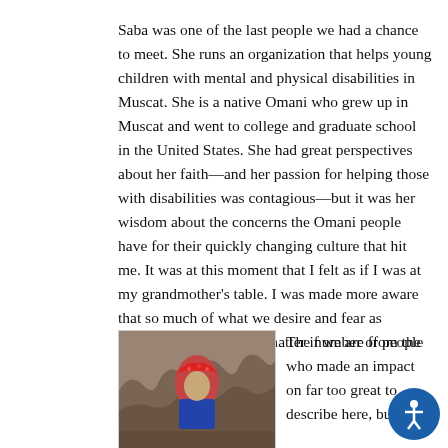Saba was one of the last people we had a chance to meet. She runs an organization that helps young children with mental and physical disabilities in Muscat. She is a native Omani who grew up in Muscat and went to college and graduate school in the United States. She had great perspectives about her faith—and her passion for helping those with disabilities was contagious—but it was her wisdom about the concerns the Omani people have for their quickly changing culture that hit me. It was at this moment that I felt as if I was at my grandmother's table. I was made more aware that so much of what we desire and fear as humans is the same, no matter if we are from the U.S. or Oman.
[Figure (photo): A person wearing a red patterned headscarf and blue clothing, standing in a rocky/cave-like setting. The photo is partially visible, cropped at the bottom.]
The number of people who made an impact on far too great to describe here, but I